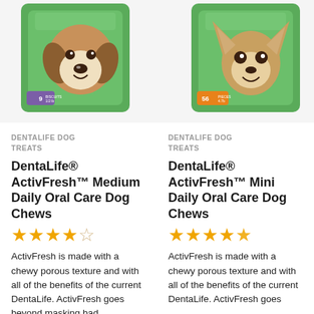[Figure (photo): Product image of DentaLife ActivFresh Medium dog treats bag with a beagle dog, green packaging, purple badge showing 9 count]
[Figure (photo): Product image of DentaLife ActivFresh Mini dog treats bag with a chihuahua dog, green packaging, orange badge showing 56 count]
DENTALIFE DOG TREATS
DentaLife® ActivFresh™ Medium Daily Oral Care Dog Chews
★★★★☆ (4 out of 5 stars)
ActivFresh is made with a chewy porous texture and with all of the benefits of the current DentaLife. ActivFresh goes beyond masking bad
DENTALIFE DOG TREATS
DentaLife® ActivFresh™ Mini Daily Oral Care Dog Chews
★★★★★ (4.5 out of 5 stars)
ActivFresh is made with a chewy porous texture and with all of the benefits of the current DentaLife. ActivFresh goes